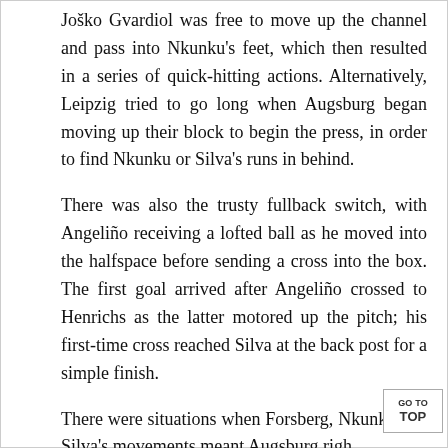Joško Gvardiol was free to move up the channel and pass into Nkunku's feet, which then resulted in a series of quick-hitting actions. Alternatively, Leipzig tried to go long when Augsburg began moving up their block to begin the press, in order to find Nkunku or Silva's runs in behind.
There was also the trusty fullback switch, with Angeliño receiving a lofted ball as he moved into the halfspace before sending a cross into the box. The first goal arrived after Angeliño crossed to Henrichs as the latter motored up the pitch; his first-time cross reached Silva at the back post for a simple finish.
There were situations when Forsberg, Nkunku and Silva's movements meant Augsburg righ